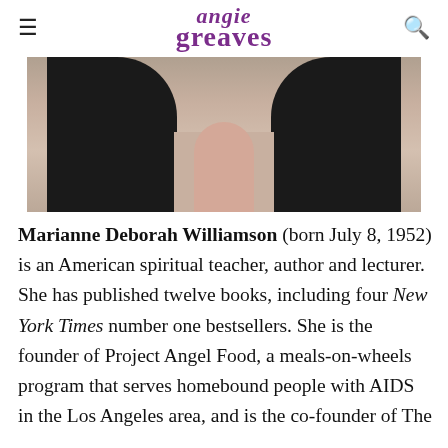angie greaves
[Figure (photo): Partial photo of a woman wearing a black jacket, visible from neck/shoulders down, against a neutral background.]
Marianne Deborah Williamson (born July 8, 1952) is an American spiritual teacher, author and lecturer. She has published twelve books, including four New York Times number one bestsellers. She is the founder of Project Angel Food, a meals-on-wheels program that serves homebound people with AIDS in the Los Angeles area, and is the co-founder of The